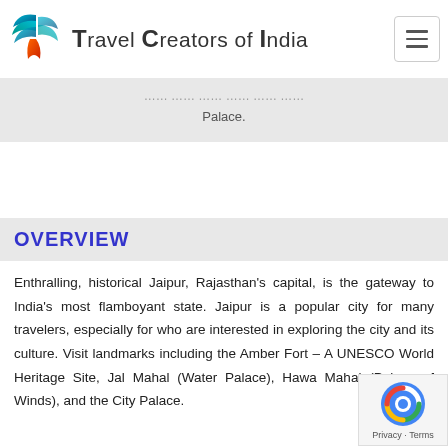Travel Creators of India
Palace.
OVERVIEW
Enthralling, historical Jaipur, Rajasthan's capital, is the gateway to India's most flamboyant state. Jaipur is a popular city for many travelers, especially for who are interested in exploring the city and its culture. Visit landmarks including the Amber Fort – A UNESCO World Heritage Site, Jal Mahal (Water Palace), Hawa Mahal (Palace of Winds), and the City Palace.